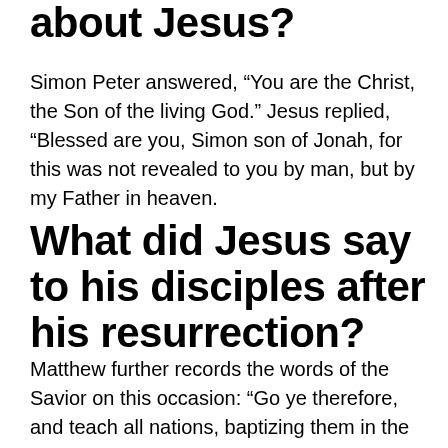about Jesus?
Simon Peter answered, “You are the Christ, the Son of the living God.” Jesus replied, “Blessed are you, Simon son of Jonah, for this was not revealed to you by man, but by my Father in heaven.
What did Jesus say to his disciples after his resurrection?
Matthew further records the words of the Savior on this occasion: “Go ye therefore, and teach all nations, baptizing them in the name of the Father, and of the Son, and of the Holy Ghost: “Teaching them to observe all things whatsoever I have commanded